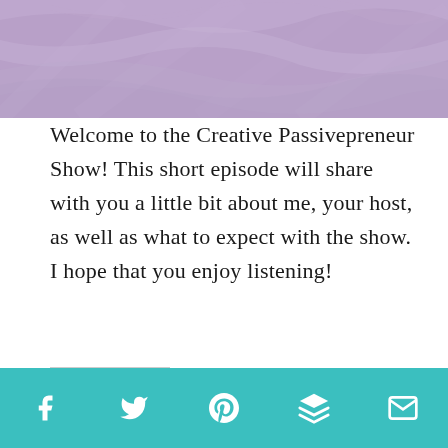[Figure (illustration): Purple/lavender textured banner header image with diagonal brush stroke patterns]
Welcome to the Creative Passivepreneur Show! This short episode will share with you a little bit about me, your host, as well as what to expect with the show. I hope that you enjoy listening!
[Figure (infographic): Teal/turquoise footer bar with five white social media icons: Facebook (f), Twitter (bird), Pinterest (P), Buffer/layers icon, and Email (envelope)]